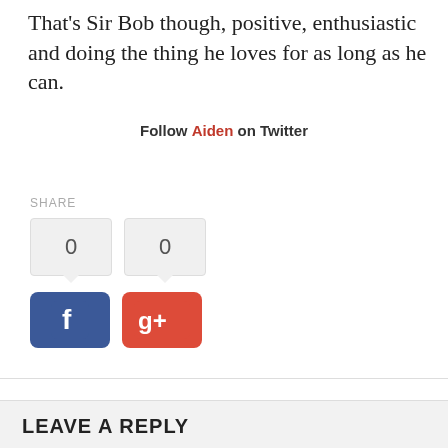That's Sir Bob though, positive, enthusiastic and doing the thing he loves for as long as he can.
Follow Aiden on Twitter
SHARE
[Figure (other): Facebook and Google+ share buttons with count bubbles showing 0 and 0]
Tags: book review Golf
LEAVE A REPLY
Comment